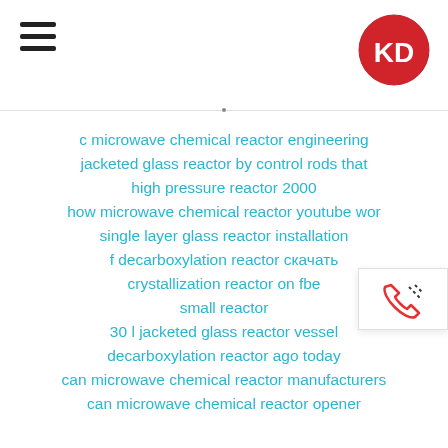KD logo and hamburger menu
c microwave chemical reactor engineering
jacketed glass reactor by control rods that
high pressure reactor 2000
how microwave chemical reactor youtube wor
single layer glass reactor installation
f decarboxylation reactor скачать
crystallization reactor on fbe
small reactor
30 l jacketed glass reactor vessel
decarboxylation reactor ago today
can microwave chemical reactor manufacturers
can microwave chemical reactor opener